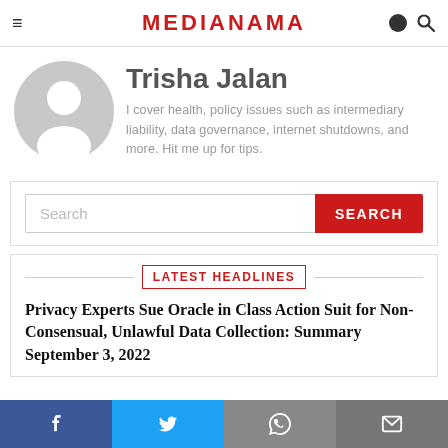MEDIANAMA
[Figure (illustration): Default user avatar placeholder: grey circle with white silhouette of a person]
Trisha Jalan
I cover health, policy issues such as intermediary liability, data governance, internet shutdowns, and more. Hit me up for tips.
Search [SEARCH button]
LATEST HEADLINES
Privacy Experts Sue Oracle in Class Action Suit for Non-Consensual, Unlawful Data Collection: Summary September 3, 2022